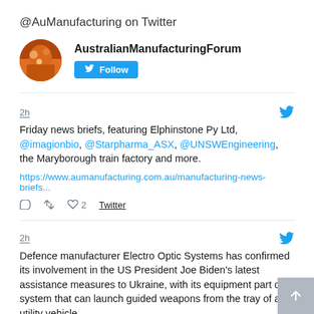@AuManufacturing on Twitter
[Figure (illustration): Twitter profile widget for AustralianManufacturingForum with avatar, name, and Follow button]
2h
Friday news briefs, featuring Elphinstone Py Ltd, @imagionbio, @Starpharma_ASX, @UNSWEngineering, the Maryborough train factory and more.
https://www.aumanufacturing.com.au/manufacturing-news-briefs...
2  Twitter
2h
Defence manufacturer Electro Optic Systems has confirmed its involvement in the US President Joe Biden's latest assistance measures to Ukraine, with its equipment part of a system that can launch guided weapons from the tray of a utility vehicle.
https://www.aumanufacturing.com.au/eos-confirms-utility-remo...